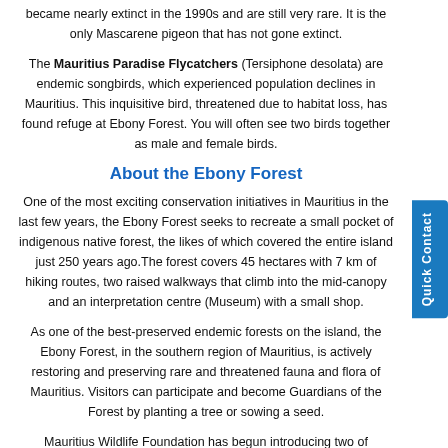became nearly extinct in the 1990s and are still very rare. It is the only Mascarene pigeon that has not gone extinct.
The Mauritius Paradise Flycatchers (Tersiphone desolata) are endemic songbirds, which experienced population declines in Mauritius. This inquisitive bird, threatened due to habitat loss, has found refuge at Ebony Forest. You will often see two birds together as male and female birds.
About the Ebony Forest
One of the most exciting conservation initiatives in Mauritius in the last few years, the Ebony Forest seeks to recreate a small pocket of indigenous native forest, the likes of which covered the entire island just 250 years ago. The forest covers 45 hectares with 7 km of hiking routes, two raised walkways that climb into the mid-canopy and an interpretation centre (Museum) with a small shop.
As one of the best-preserved endemic forests on the island, the Ebony Forest, in the southern region of Mauritius, is actively restoring and preserving rare and threatened fauna and flora of Mauritius. Visitors can participate and become Guardians of the Forest by planting a tree or sowing a seed.
Mauritius Wildlife Foundation has begun introducing two of Mauritius' most endangered signature species: the pink pigeon and echo parakeet.